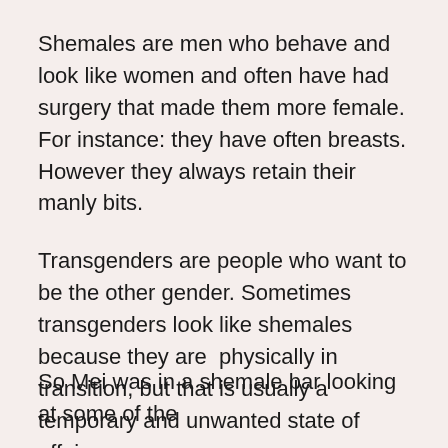Shemales are men who behave and look like women and often have had surgery that made them more female. For instance: they have often breasts. However they always retain their manly bits.
Transgenders are people who want to be the other gender. Sometimes transgenders look like shemales because they are  physically in transition, but that is usually a temporary and unwanted state of affairs.
Shemales want to a be in that in between state.
So Mei was in a shemale bar looking at some of the